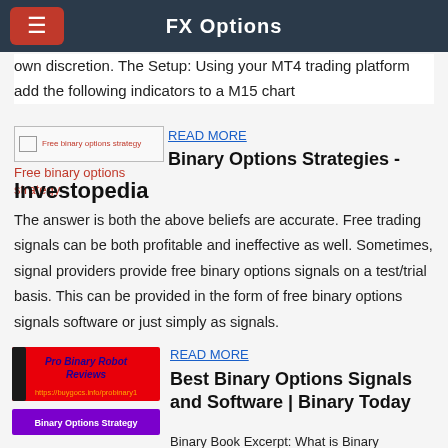FX Options
own discretion. The Setup: Using your MT4 trading platform add the following indicators to a M15 chart
[Figure (photo): Broken image placeholder for Free binary options strategy thumbnail with red caption text]
READ MORE
Binary Options Strategies - Investopedia
The answer is both the above beliefs are accurate. Free trading signals can be both profitable and ineffective as well. Sometimes, signal providers provide free binary options signals on a test/trial basis. This can be provided in the form of free binary options signals software or just simply as signals.
[Figure (screenshot): Pro Binary Robot Reviews banner image with red background and orange URL text, plus Binary Options Strategy purple banner]
READ MORE
Best Binary Options Signals and Software | Binary Today
Binary Book Excerpt: What is Binary